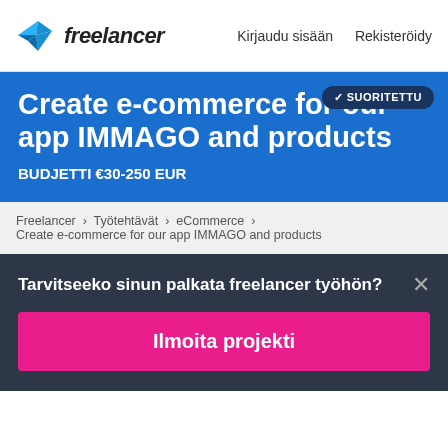Freelancer  Kirjaudu sisään  Rekisteröidy
Create e-commerce for our app IMMAGO and products
BUDJETTI €30-250 EUR
✓ SUORITETTU
Freelancer › Työtehtävät › eCommerce › Create e-commerce for our app IMMAGO and products
Tarvitseeko sinun palkata freelancer työhön?
Ilmoita projekti